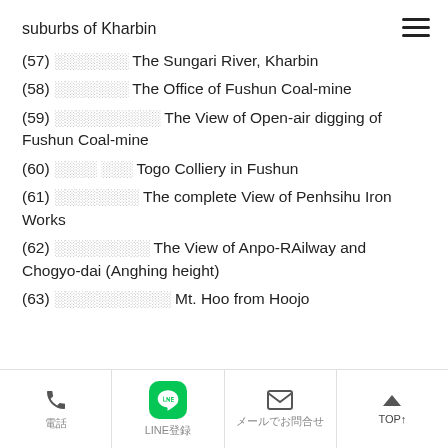suburbs of Kharbin
(57) ░░░░░░░ The Sungari River, Kharbin
(58) ░░░░░░░ The Office of Fushun Coal-mine
(59) ░░░░░░░░░░ The View of Open-air digging of Fushun Coal-mine
(60) ░░░░ ░░░ Togo Colliery in Fushun
(61) ░░░░░░░░ The complete View of Penhsihu Iron Works
(62) ░░░░░░░░░ The View of Anpo-RAilway and Chogyo-dai (Anghing height)
(63) ░░░░░░░░░░░ Mt. Hoo from Hoojo
電話 | LINE登録 | メールでお問合せ | TOP↑